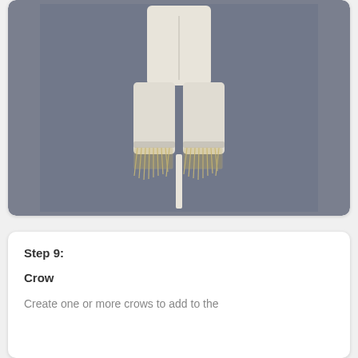[Figure (photo): A scarecrow craft figure laid flat on a gray background. The figure has white/cream fabric body with two legs and raffia/straw fringe at the bottom of the legs, and a stick/dowel coming from between the legs.]
Step 9:
Crow
Create one or more crows to add to the